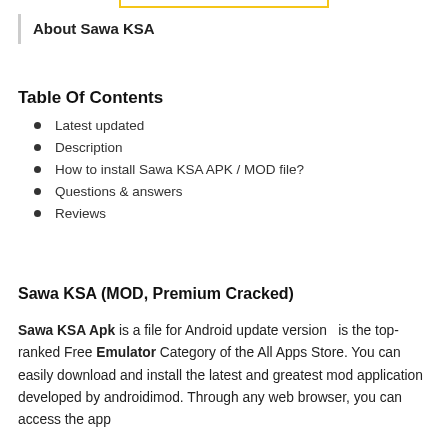About Sawa KSA
Table Of Contents
Latest updated
Description
How to install Sawa KSA APK / MOD file?
Questions & answers
Reviews
Sawa KSA (MOD, Premium Cracked)
Sawa KSA Apk is a file for Android update version  is the top-ranked Free Emulator Category of the All Apps Store. You can easily download and install the latest and greatest mod application developed by androidimod. Through any web browser, you can access the app